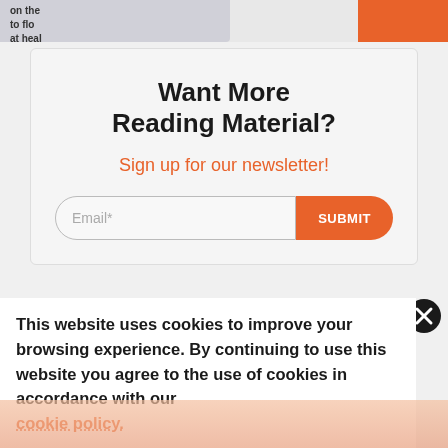[Figure (screenshot): Top partial image strip showing text fragments 'on the' and 'to flo' and 'at heal' with an orange accent in top right corner]
Want More Reading Material?
Sign up for our newsletter!
[Figure (screenshot): Email input field with placeholder 'Email*' and orange SUBMIT button]
[Figure (screenshot): Black circle close/X button]
This website uses cookies to improve your browsing experience. By continuing to use this website you agree to the use of cookies in accordance with our cookie policy.